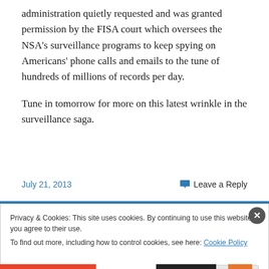administration quietly requested and was granted permission by the FISA court which oversees the NSA's surveillance programs to keep spying on Americans' phone calls and emails to the tune of hundreds of millions of records per day.
Tune in tomorrow for more on this latest wrinkle in the surveillance saga.
July 21, 2013
Leave a Reply
Privacy & Cookies: This site uses cookies. By continuing to use this website, you agree to their use.
To find out more, including how to control cookies, see here: Cookie Policy
Close and accept